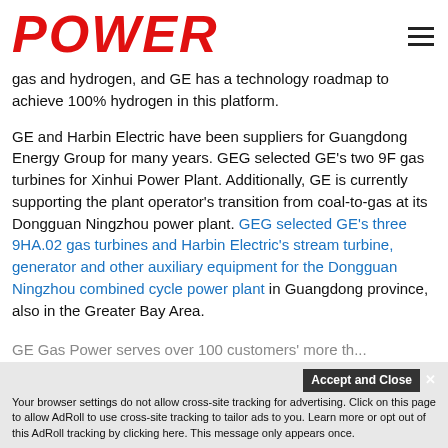POWER
gas and hydrogen, and GE has a technology roadmap to achieve 100% hydrogen in this platform.
GE and Harbin Electric have been suppliers for Guangdong Energy Group for many years. GEG selected GE’s two 9F gas turbines for Xinhui Power Plant. Additionally, GE is currently supporting the plant operator’s transition from coal-to-gas at its Dongguan Ningzhou power plant. GEG selected GE’s three 9HA.02 gas turbines and Harbin Electric’s stream turbine, generator and other auxiliary equipment for the Dongguan Ningzhou combined cycle power plant in Guangdong province, also in the Greater Bay Area.
GE Gas Power serves over 100 customers' more th...
Your browser settings do not allow cross-site tracking for advertising. Click on this page to allow AdRoll to use cross-site tracking to tailor ads to you. Learn more or opt out of this AdRoll tracking by clicking here. This message only appears once.